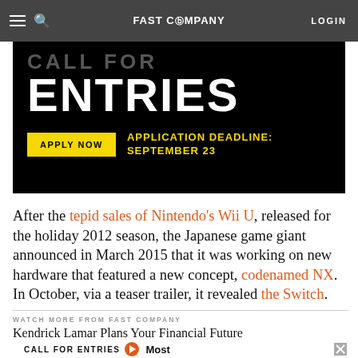FAST COMPANY  LOGIN
[Figure (other): Fast Company advertisement banner: CALL FOR ENTRIES - APPLY NOW - APPLICATION DEADLINE: SEPTEMBER 23]
After the tepid sales of Nintendo's Wii U, released for the holiday 2012 season, the Japanese game giant announced in March 2015 that it was working on new hardware that featured a new concept, codenamed NX. In October, via a teaser trailer, it revealed the Switch.
WATCH MORE FROM FAST COMPANY
Kendrick Lamar Plans Your Financial Future
[Figure (other): Bottom advertisement overlay: CALL FOR ENTRIES with orange circle icon and Most label, with X close button]